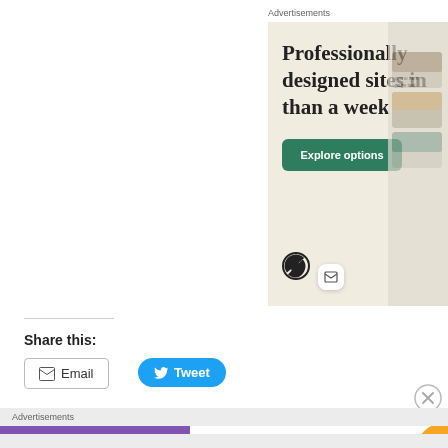Advertisements
[Figure (illustration): WordPress advertisement banner: beige background with large serif text 'Professionally designed sites in than a week', a green 'Explore options' button, WordPress logo, small email icon, and mockup screenshots on the right side.]
Share this:
Email
Tweet
Advertisements
[Figure (illustration): WooCommerce advertisement banner: purple left side with WooCommerce logo, green arrow, white right side with text 'How to start selling subscriptions online', and colorful leaf/petal accents on the right edge.]